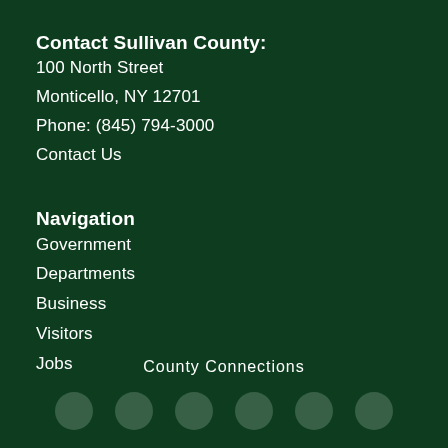Contact Sullivan County:
100 North Street
Monticello, NY 12701
Phone: (845) 794-3000
Contact Us
Navigation
Government
Departments
Business
Visitors
Jobs
County Connections
[Figure (illustration): Row of six circular social media icon buttons at the bottom of the page]